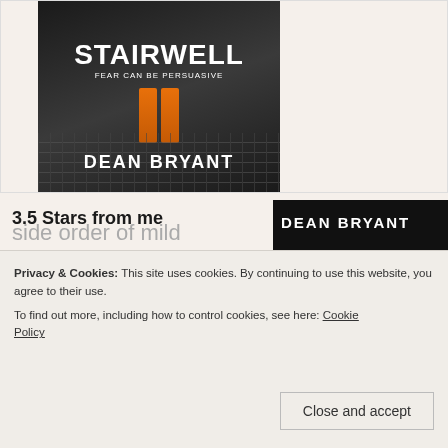[Figure (photo): Book cover of 'Stairwell' by Dean Bryant with tagline 'Fear Can Be Persuasive', dark stairwell imagery with orange/amber rectangular bars]
3.5 Stars from me
Where to start with this one...?
[Figure (photo): Second book cover showing spiral staircase from above, with quote 'Deliciously terrifying from page one. A truly chilling page-turner' and 'THE' visible at bottom, by Dean Bryant]
Privacy & Cookies: This site uses cookies. By continuing to use this website, you agree to their use.
To find out more, including how to control cookies, see here: Cookie Policy
side order of mild
[Figure (photo): Partial third book cover showing 'DEAN BRYANT' text at bottom]